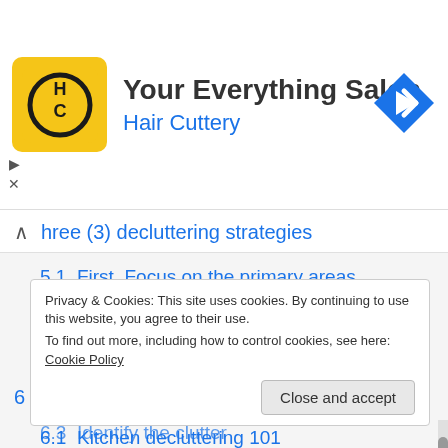[Figure (logo): Hair Cuttery HC logo — yellow square with rounded corners and HC monogram]
Your Everything Salon
Hair Cuttery
[Figure (illustration): Blue diamond navigation arrow icon (turn right)]
hree (3) decluttering strategies
5.1  First, Focus on the primary areas
5.2  Second, Start from the front door
5.3  Third, Do a clean sweep daily
6  Where and how to declutter?
6.1  Kitchen decluttering 101
6.2  Bathroom decluttering 101
Privacy & Cookies: This site uses cookies. By continuing to use this website, you agree to their use.
To find out more, including how to control cookies, see here: Cookie Policy
Close and accept